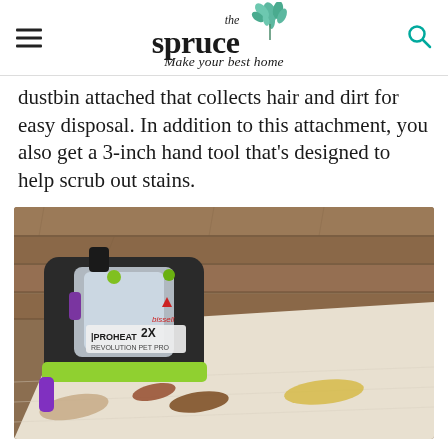the spruce — Make your best home
dustbin attached that collects hair and dirt for easy disposal. In addition to this attachment, you also get a 3-inch hand tool that's designed to help scrub out stains.
[Figure (photo): A Bissell ProHeat 2X Revolution Pet Pro carpet cleaner being used on a light-colored rug with visible stains including brown and yellow streaks, set on a wooden floor background.]